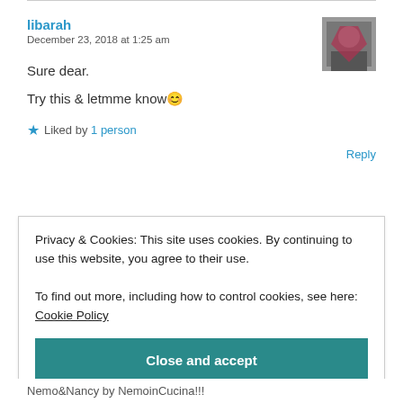libarah
December 23, 2018 at 1:25 am
Sure dear.
Try this & letmme know😊
★ Liked by 1 person
Reply
Privacy & Cookies: This site uses cookies. By continuing to use this website, you agree to their use.
To find out more, including how to control cookies, see here: Cookie Policy
Close and accept
Nemo&Nancy by NemoinCucina!!!